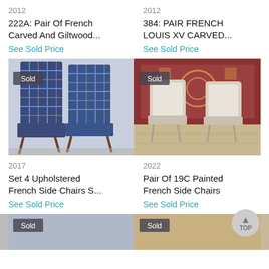2012
222A: Pair Of French Carved And Giltwood...
See Sold Price
2012
384: PAIR FRENCH LOUIS XV CARVED...
See Sold Price
[Figure (photo): Two high-back chairs upholstered in blue plaid fabric with carved wooden legs, shown side by side in a warehouse/auction setting. A grey 'Sold' badge is overlaid on the top-left corner.]
[Figure (photo): Two French-style painted side chairs with cream/white upholstery and carved wooden frames, shown in front of an ornate rug. A grey 'Sold' badge is overlaid on the top-left corner.]
2017
Set 4 Upholstered French Side Chairs S...
See Sold Price
2022
Pair Of 19C Painted French Side Chairs
See Sold Price
[Figure (photo): Partial bottom-left image showing a 'Sold' badge, partially cropped.]
[Figure (photo): Partial bottom-right image showing wooden/tan furniture, partially cropped.]